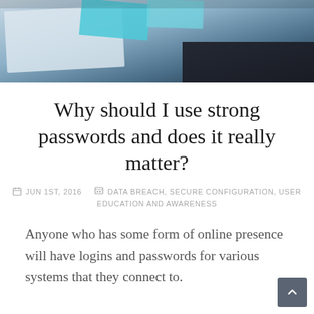[Figure (photo): Top banner photo showing papers and blue sticky notes on a dark surface, partially visible as a cropped header image]
Why should I use strong passwords and does it really matter?
JUN 1ST, 2016   DATA BREACH, SECURE CONFIGURATION, USER EDUCATION AND AWARENESS
Anyone who has some form of online presence will have logins and passwords for various systems that they connect to.